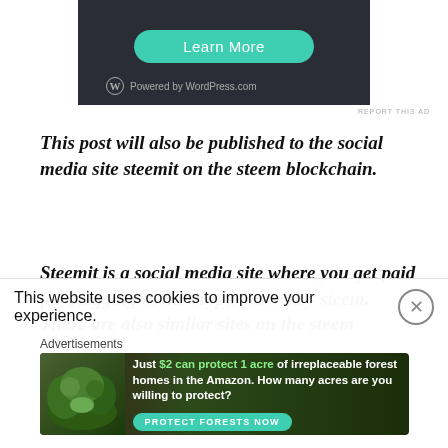[Figure (screenshot): Top portion of a WordPress.com advertisement with a teal 'Learn More' button and 'Powered by WordPress.com' logo on dark background]
REPORT THIS AD
This post will also be published to the social media site steemit on the steem blockchain.
Steemit is a social media site where you get paid for blogging in the crypto-currency steem. There are also similar sites on the steem blockchain through which you can get paid for uploading
This website uses cookies to improve your experience.
Advertisements
[Figure (screenshot): Advertisement banner: 'Just $2 can protect 1 acre of irreplaceable forest homes in the Amazon. How many acres are you willing to protect?' with a 'PROTECT FORESTS NOW' button, showing Amazon forest imagery]